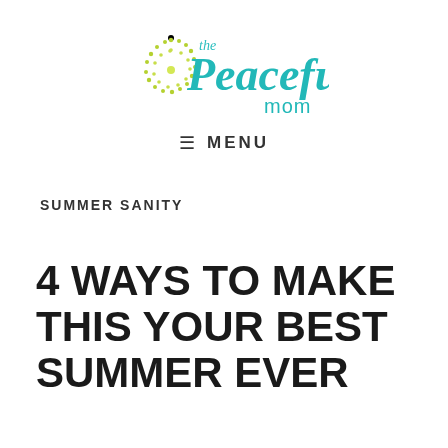[Figure (logo): The Peaceful Mom logo with green dandelion/sunburst icon and teal cursive and sans-serif text]
≡  MENU
SUMMER SANITY
4 WAYS TO MAKE THIS YOUR BEST SUMMER EVER